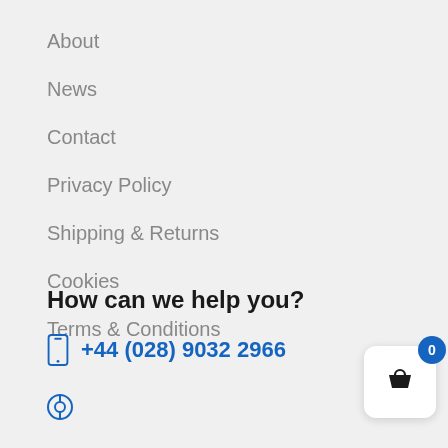About
News
Contact
Privacy Policy
Shipping & Returns
Cookies
Terms & Conditions
How can we help you?
+44 (028) 9032 2966